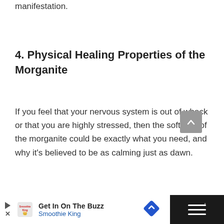manifestation.
4. Physical Healing Properties of the Morganite
If you feel that your nervous system is out of whack or that you are highly stressed, then the soft kiss of the morganite could be exactly what you need, and why it's believed to be as calming just as dawn.
[Figure (other): Gray scroll-to-top button with upward chevron arrow]
[Figure (other): Advertisement bar: Smoothie King ad with play and close icons, diamond navigation icon, and dark right panel with menu icon]